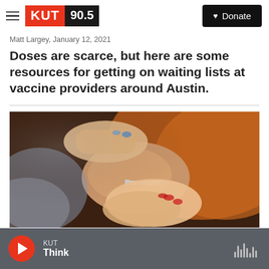KUT 90.5 — Donate
Matt Largey, January 12, 2021
Doses are scarce, but here are some resources for getting on waiting lists at vaccine providers around Austin.
[Figure (photo): Close-up photograph of a healthcare worker administering a vaccine injection into a person's arm. The person receiving the vaccine is wearing an orange/rust-colored garment. The healthcare worker's hands with painted nails are visible holding a syringe.]
KUT Think